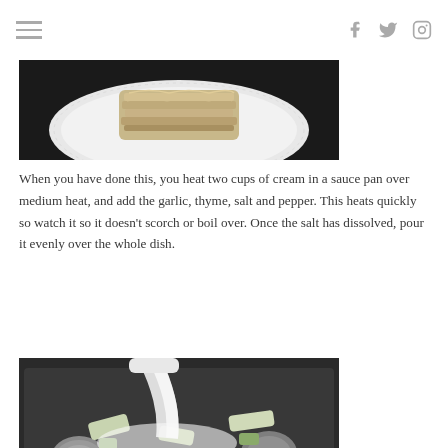Navigation header with hamburger menu and social icons (Facebook, Twitter, Instagram)
[Figure (photo): Food photo showing a layered baked dish on a white decorative plate with dark background]
When you have done this, you heat two cups of cream in a sauce pan over medium heat, and add the garlic, thyme, salt and pepper. This heats quickly so watch it so it doesn’t scorch or boil over. Once the salt has dissolved, pour it evenly over the whole dish.
[Figure (photo): Food photo showing cream being poured from a white container over sliced vegetables (potatoes, leeks) in a dark baking pan]